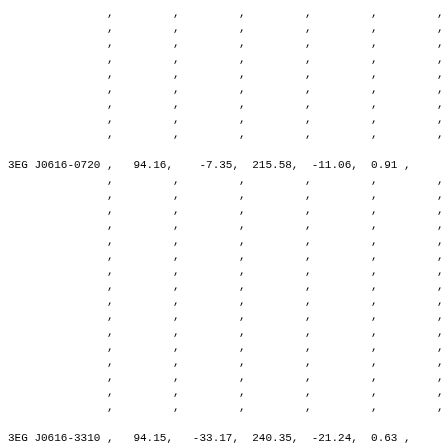|  | , | , | , | , | , | , |
|  | , | , | , | , | , | , |
|  | , | , | , | , | , | , |
|  | , | , | , | , | , | , |
|  | , | , | , | , | , | , |
|  | , | , | , | , | , | , |
|  | , | , | , | , | , | , |
|  | , | , | , | , | , | , |
|  | , | , | , | , | , | , |
| 3EG J0616-0720 | , | 94.16, | -7.35, | 215.58, | -11.06, | 0.91 | , |
|  | , | , | , | , | , | , |
|  | , | , | , | , | , | , |
|  | , | , | , | , | , | , |
|  | , | , | , | , | , | , |
|  | , | , | , | , | , | , |
|  | , | , | , | , | , | , |
|  | , | , | , | , | , | , |
|  | , | , | , | , | , | , |
|  | , | , | , | , | , | , |
|  | , | , | , | , | , | , |
|  | , | , | , | , | , | , |
|  | , | , | , | , | , | , |
|  | , | , | , | , | , | , |
|  | , | , | , | , | , | , |
|  | , | , | , | , | , | , |
|  | , | , | , | , | , | , |
| 3EG J0616-3310 | , | 94.15, | -33.17, | 240.35, | -21.24, | 0.63 | , |
|  | , | , | , | , | , | , |